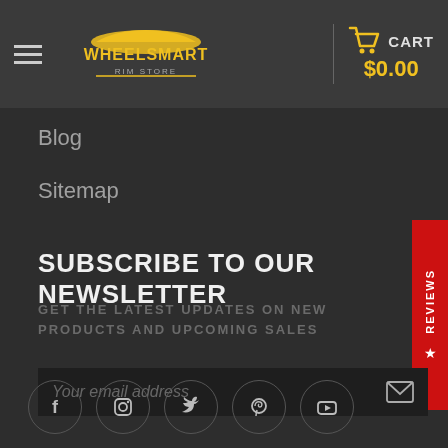WheelSmart Rim Store — CART $0.00
Blog
Sitemap
SUBSCRIBE TO OUR NEWSLETTER
GET THE LATEST UPDATES ON NEW PRODUCTS AND UPCOMING SALES
Your email address
[Figure (infographic): Social media icons row: Facebook, Instagram, Twitter, Pinterest, YouTube]